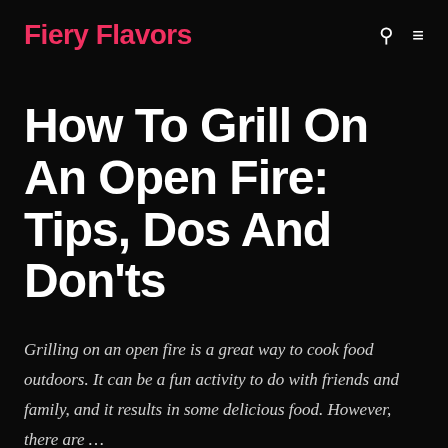Fiery Flavors
How To Grill On An Open Fire: Tips, Dos And Don'ts
Grilling on an open fire is a great way to cook food outdoors. It can be a fun activity to do with friends and family, and it results in some delicious food. However, there are …